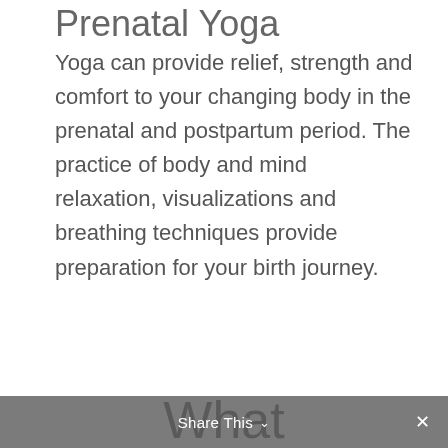Prenatal Yoga
Yoga can provide relief, strength and comfort to your changing body in the prenatal and postpartum period. The practice of body and mind relaxation, visualizations and breathing techniques provide preparation for your birth journey.
What
Share This ×